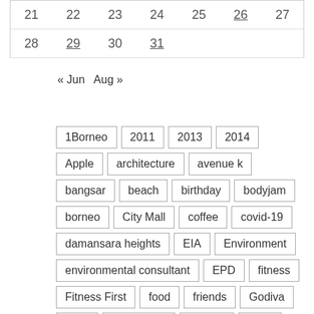| 21 | 22 | 23 | 24 | 25 | 26 | 27 |
| 28 | 29 | 30 | 31 |  |  |  |
« Jun   Aug »
1Borneo
2011
2013
2014
Apple
architecture
avenue k
bangsar
beach
birthday
bodyjam
borneo
City Mall
coffee
covid-19
damansara heights
EIA
Environment
environmental consultant
EPD
fitness
Fitness First
food
friends
Godiva
Gym
hasuu tasu
Heroes
IKEA
iphone
iPod
Jazz
job
KK
KL